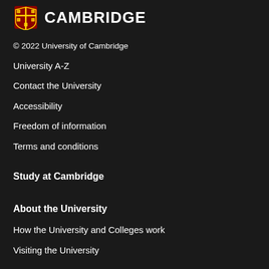[Figure (logo): University of Cambridge shield logo with CAMBRIDGE text]
© 2022 University of Cambridge
University A-Z
Contact the University
Accessibility
Freedom of information
Terms and conditions
Study at Cambridge
About the University
How the University and Colleges work
Visiting the University